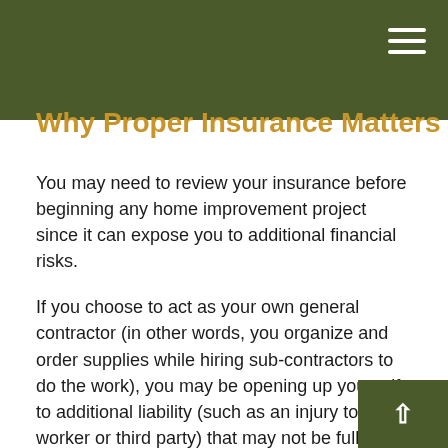Why Proper Insurance Matters
You may need to review your insurance before beginning any home improvement project since it can expose you to additional financial risks.
If you choose to act as your own general contractor (in other words, you organize and order supplies while hiring sub-contractors to do the work), you may be opening up yourself to additional liability (such as an injury to a worker or third party) that may not be fully covered by your current homeowners insurance policy.¹
Whether it's an extra room or an updated bathroom, many home improvement projects will increase the value of your home. However, too many homeowners fail to review the policy's replacement value limits, which may no longer be high enough to cover any losses that occur after your